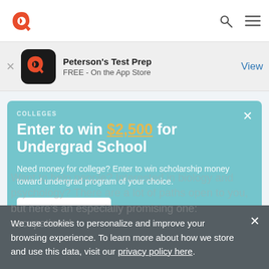Peterson's Test Prep navigation bar with logo, search and menu icons
[Figure (screenshot): App Store banner: Peterson's Test Prep app icon, name, FREE - On the App Store, View button]
COLLEGES
Enter to win $2,500 for Undergrad School
Need money for college? Enter to win scholarship money toward undergrad program of your choice.
Enter to Win!
We use cookies to personalize and improve your browsing experience. To learn more about how we store and use this data, visit our privacy policy here.